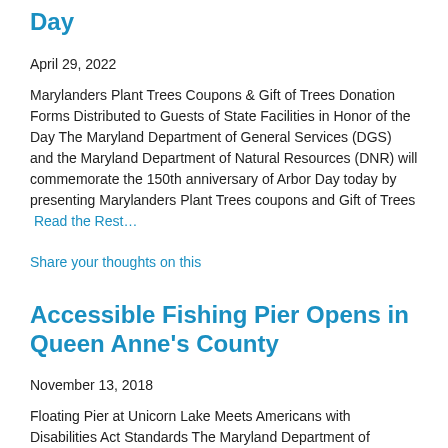Day
April 29, 2022
Marylanders Plant Trees Coupons & Gift of Trees Donation Forms Distributed to Guests of State Facilities in Honor of the Day The Maryland Department of General Services (DGS) and the Maryland Department of Natural Resources (DNR) will commemorate the 150th anniversary of Arbor Day today by presenting Marylanders Plant Trees coupons and Gift of Trees  Read the Rest…
Share your thoughts on this
Accessible Fishing Pier Opens in Queen Anne's County
November 13, 2018
Floating Pier at Unicorn Lake Meets Americans with Disabilities Act Standards The Maryland Department of Natural Resources has opened a new floating fishing pier and gangway at the